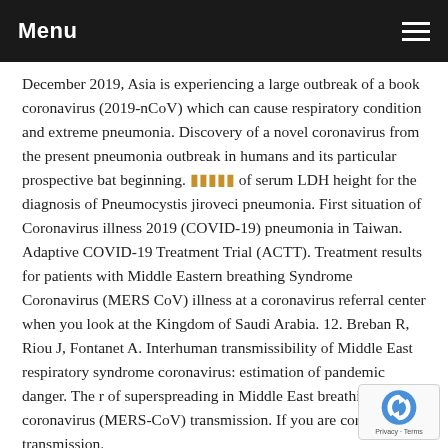Menu
December 2019, Asia is experiencing a large outbreak of a book coronavirus (2019-nCoV) which can cause respiratory condition and extreme pneumonia. Discovery of a novel coronavirus from the present pneumonia outbreak in humans and its particular prospective bat beginning. ■■■■■ of serum LDH height for the diagnosis of Pneumocystis jiroveci pneumonia. First situation of Coronavirus illness 2019 (COVID-19) pneumonia in Taiwan. Adaptive COVID-19 Treatment Trial (ACTT). Treatment results for patients with Middle Eastern breathing Syndrome Coronavirus (MERS CoV) illness at a coronavirus referral center when you look at the Kingdom of Saudi Arabia. 12. Breban R, Riou J, Fontanet A. Interhuman transmissibility of Middle East respiratory syndrome coronavirus: estimation of pandemic danger. The r of superspreading in Middle East breathing syndro coronavirus (MERS-CoV) transmission. If you are coronavirus transmission.